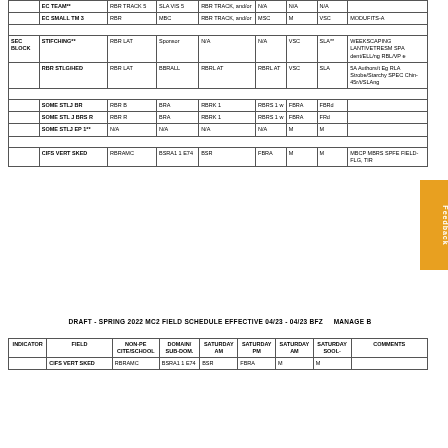| INDICATOR | FIELD | NON-PE CITE/SCHOOL | DOMAIN/SUB-DOMAIN | SATURDAY AM | SATURDAY PM | SATURDAY AM | SATURDAY SOOL- | COMMENTS |
| --- | --- | --- | --- | --- | --- | --- | --- | --- |
|  | EC TEAM** | RBR TRACK 5 | SLA VIS 5 | RBR TRACK, and/or | N/A | N/A | N/A |  |
|  | EC SMALL TM 3 | RBR | MBC | RBR TRACK, and/or | MSC | M | VSC | MODUFITS-A |
|  |  |  |  |  |  |  |  |  |
| SEC BLOCK | STIFCHING** | RBR LAT | Sponsor | N/A | N/A | VSC | SLA** | WEEKSCAPING LANTIVETRESM SPA dent/ELL/ng RBL/VP e |
|  | RBR STLG/HED | RBR LAT | BBRALL | RBRL AT | RBRL AT | VSC | SLA | 5A Authors/t Eg RLA Strobe/Starchy SPEC Chin-45r/t/SLAng |
|  |  |  |  |  |  |  |  |  |
|  | SOME STLJ BR | RBR B | BRA | RBRK 1 | RBRS 1 w | FBRA | FBRd |  |
|  | SOME STL J BRS R | RBR R | BRA | RBRK 1 | RBRS 1 w | FBRA | FRd |  |
|  | SOME STLJ EP 1** | N/A | N/A | N/A | N/A | M | M |  |
|  |  |  |  |  |  |  |  |  |
|  | CIFS VERT SKED | RBRAMC | BSRA1 1 E74 | BSR | FBRA | M | M | MBCP MBRS SPFE FIELD-FLG, TIR |
DRAFT - SPRING 2022 MC2 FIELD SCHEDULE EFFECTIVE 04/23 - 04/23 BFZ   MANAGE B
| INDICATOR | FIELD | NON-PE CITE/SCHOOL | DOMAIN/SUB-DOMAIN | SATURDAY AM | SATURDAY PM | SATURDAY AM | SATURDAY SOOL- | COMMENTS |
| --- | --- | --- | --- | --- | --- | --- | --- | --- |
|  | CIFS VERT SKED | RBRAMC | BSRA1 1 E74 | BSR | FBRA | M | M |  |